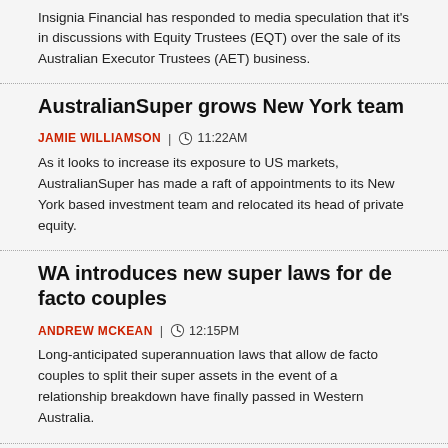Insignia Financial has responded to media speculation that it's in discussions with Equity Trustees (EQT) over the sale of its Australian Executor Trustees (AET) business.
AustralianSuper grows New York team
JAMIE WILLIAMSON  |  11:22AM
As it looks to increase its exposure to US markets, AustralianSuper has made a raft of appointments to its New York based investment team and relocated its head of private equity.
WA introduces new super laws for de facto couples
ANDREW MCKEAN  |  12:15PM
Long-anticipated superannuation laws that allow de facto couples to split their super assets in the event of a relationship breakdown have finally passed in Western Australia.
NGS Super bolsters investment team
ANDREW MCKEAN  |  12:21PM